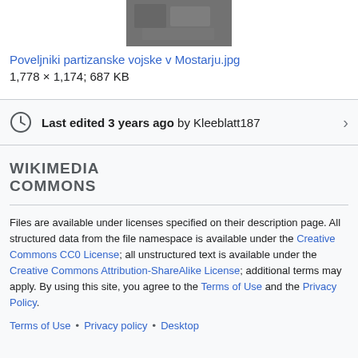[Figure (photo): Partial black and white historical photograph at top of page]
Poveljniki partizanske vojske v Mostarju.jpg
1,778 × 1,174; 687 KB
Last edited 3 years ago by Kleeblatt187
WIKIMEDIA COMMONS
Files are available under licenses specified on their description page. All structured data from the file namespace is available under the Creative Commons CC0 License; all unstructured text is available under the Creative Commons Attribution-ShareAlike License; additional terms may apply. By using this site, you agree to the Terms of Use and the Privacy Policy.
Terms of Use • Privacy policy • Desktop